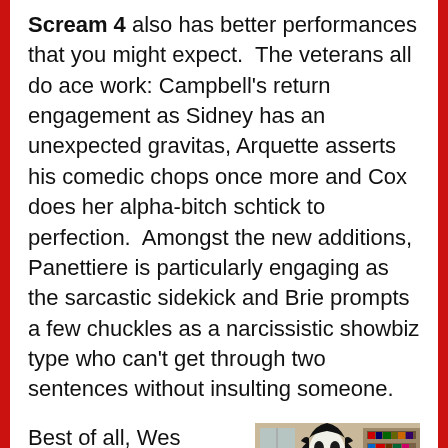Scream 4 also has better performances that you might expect.  The veterans all do ace work: Campbell's return engagement as Sidney has an unexpected gravitas, Arquette asserts his comedic chops once more and Cox does her alpha-bitch schtick to perfection.  Amongst the new additions, Panettiere is particularly engaging as the sarcastic sidekick and Brie prompts a few chuckles as a narcissistic showbiz type who can't get through two sentences without insulting someone.
[Figure (photo): Photo of Ghostface killer character from Scream in a black robe and white ghost mask, standing indoors near a bookshelf]
Best of all, Wes Craven actually seems to be having fun in the director's chair.  Scream 4 is a good ten minutes shorter than either of the past sequels and is much tighter in its pacing.  Craven sidesteps the slapstick